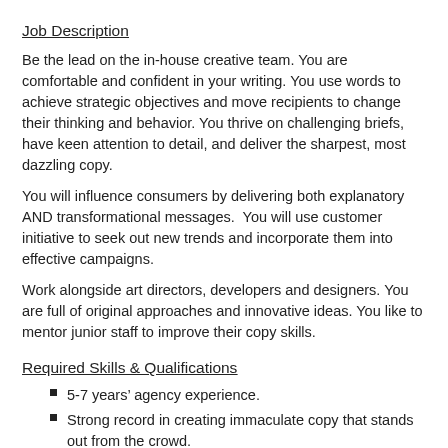Job Description
Be the lead on the in-house creative team. You are comfortable and confident in your writing. You use words to achieve strategic objectives and move recipients to change their thinking and behavior. You thrive on challenging briefs, have keen attention to detail, and deliver the sharpest, most dazzling copy.
You will influence consumers by delivering both explanatory AND transformational messages.  You will use customer initiative to seek out new trends and incorporate them into effective campaigns.
Work alongside art directors, developers and designers. You are full of original approaches and innovative ideas. You like to mentor junior staff to improve their copy skills.
Required Skills & Qualifications
5-7 years’ agency experience.
Strong record in creating immaculate copy that stands out from the crowd.